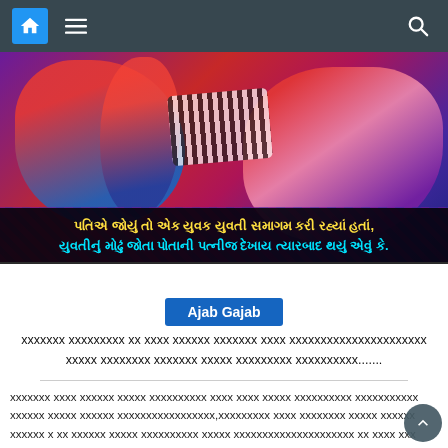Navigation bar with home icon, menu icon, and search icon
[Figure (photo): Two people sitting on a bed with colorful bedsheet, decorative image for article thumbnail]
પતિએ જોયું તો એક યુવક યુવતી સમાગમ કરી રહ્યાં હતાં, યુવતીનું મોઢું જોતા પોતાની પત્નીજ દેખાય ત્યારબાદ થયું એવું કે.
Ajab Gajab
xxxxxxx xxxxxxxxx xx xxxx xxxxxx xxxxxxx xxxx xxxxxxxxxxxxxxxxxxxxxx xxxxx xxxxxxxx xxxxxxx xxxxx xxxxxxxxx xxxxxxxxxx.......
xxxxxxx xxxx xxxxxx xxxxx xxxxxxxxxx xxxx xxxx xxxxx xxxxxxxxxx xxxxxxxxxxx xxxxxx xxxxx xxxxxx xxxxxxxxxxxxxxxxx,xxxxxxxxx xxxx xxxxxxxx xxxxx xxxxxx xxxxxx x xx xxxxxx xxxxx xxxxxxxxxx xxxxx xxxxxxxxxxxxxxxxxxxxx xx xxxx xxx xxxxx xxxxx xxxxxxxxxx xxxxxxxxxxxxx xxxxxxxxxx xxxx xxxxxxxx xxxx[...]